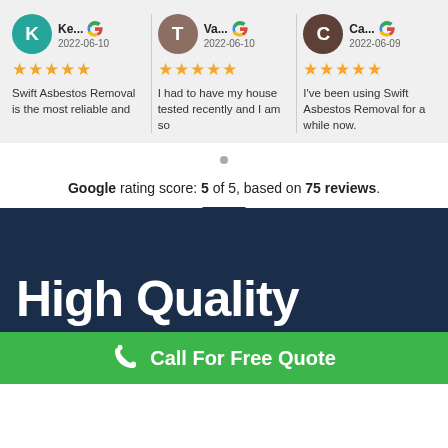Ke... 2022-06-10 — 5 stars — Swift Asbestos Removal is the most reliable and
Va... 2022-06-10 — 5 stars — I had to have my house tested recently and I am so
Ca... 2022-06-09 — 5 stars — I've been using Swift Asbestos Removal for a while now.
Google rating score: 5 of 5, based on 75 reviews.
High Quality
Call For Free Quote